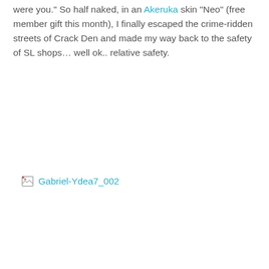were you."  So half naked,  in an Akeruka skin "Neo" (free member gift this month), I finally escaped the crime-ridden streets of Crack Den and made my way back to the safety of  SL shops… well ok.. relative safety.
[Figure (photo): Broken image placeholder with alt text 'Gabriel-Ydea7_002']